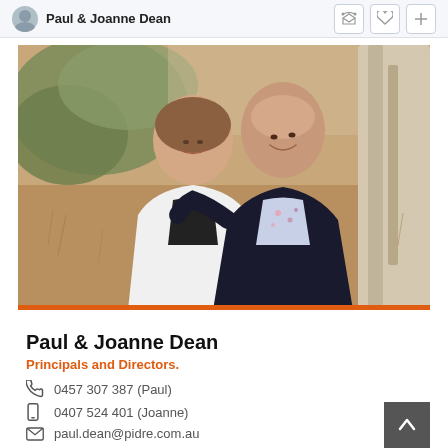Paul & Joanne Dean
[Figure (photo): Professional photo of Paul and Joanne Dean outdoors, standing near a eucalyptus tree with rural background. Joanne on left in white jacket, Paul on right in floral shirt and dark blazer.]
Paul & Joanne Dean
Principals and Directors.
0457 307 387 (Paul)
0407 524 401 (Joanne)
paul.dean@pidre.com.au